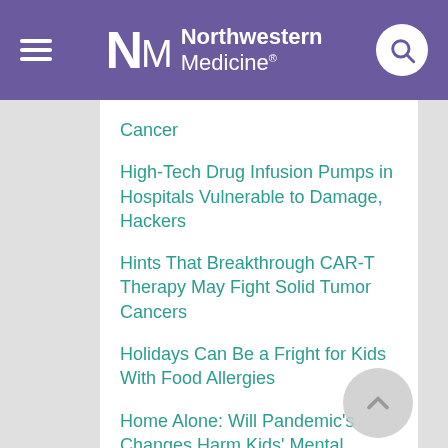Northwestern Medicine
Cancer
High-Tech Drug Infusion Pumps in Hospitals Vulnerable to Damage, Hackers
Hints That Breakthrough CAR-T Therapy May Fight Solid Tumor Cancers
Holidays Can Be a Fright for Kids With Food Allergies
Home Alone: Will Pandemic's Changes Harm Kids' Mental Health Long-Term?
Homeless More Likely to Die After Heart Attack
Hopeful News on Parkinson's: More Than 100 Trials Underway
Hormone Therapy for Prostate Cancer May Raise Heart Risks